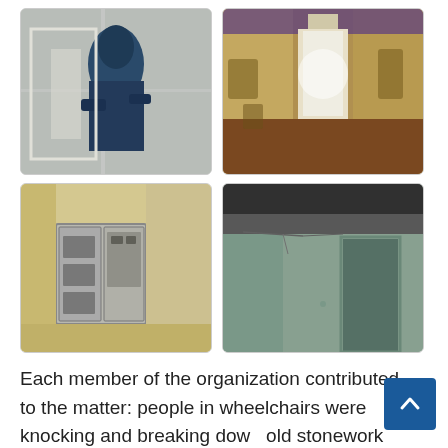[Figure (photo): Top-left photo: A person in dark blue clothing working on a wall corner, plastering or repairing, interior renovation scene.]
[Figure (photo): Top-right photo: A long corridor with wooden panel walls showing dark stains/damage, brown floor, light at the end of the hallway.]
[Figure (photo): Bottom-left photo: An electrical panel/fuse box mounted on a light-colored wall, with visible wiring boxes and meter components.]
[Figure (photo): Bottom-right photo: Interior room corner showing cracked walls and ceiling painted light green/teal, with a dark door visible.]
Each member of the organization contributed to the matter: people in wheelchairs were knocking and breaking down old stonework on the porch, others were laying a new one,